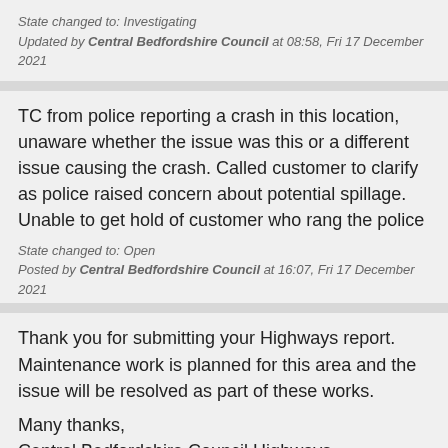State changed to: Investigating
Updated by Central Bedfordshire Council at 08:58, Fri 17 December 2021
TC from police reporting a crash in this location, unaware whether the issue was this or a different issue causing the crash. Called customer to clarify as police raised concern about potential spillage. Unable to get hold of customer who rang the police
State changed to: Open
Posted by Central Bedfordshire Council at 16:07, Fri 17 December 2021
Thank you for submitting your Highways report. Maintenance work is planned for this area and the issue will be resolved as part of these works.

Many thanks,
Central Bedfordshire Council Highways
State changed to: Closed
Posted by Central Bedfordshire Council at 18:15, Monday 10 January 2022